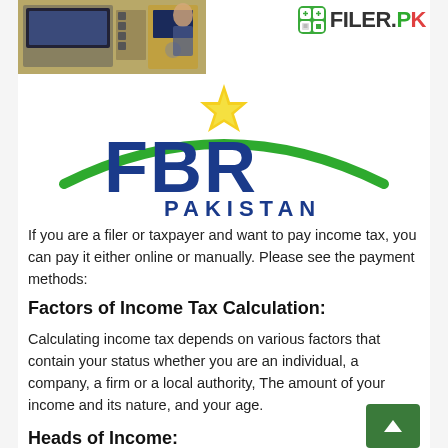[Figure (photo): ATM/payment machine photograph and FILER.PK logo in top header area]
[Figure (logo): FBR Pakistan logo with green arc, yellow star, and blue FBR text with PAKISTAN below]
If you are a filer or taxpayer and want to pay income tax, you can pay it either online or manually. Please see the payment methods:
Factors of Income Tax Calculation:
Calculating income tax depends on various factors that contain your status whether you are an individual, a company, a firm or a local authority, The amount of your income and its nature, and your age.
Heads of Income:
According to Income Tax Ordinance, 2001, taxable income is divided into five categories: